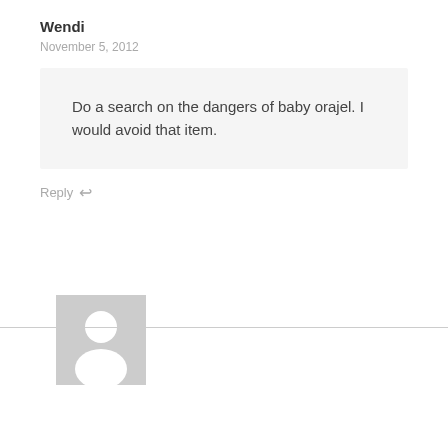Wendi
November 5, 2012
Do a search on the dangers of baby orajel. I would avoid that item.
Reply ↩
[Figure (illustration): Generic user avatar placeholder — grey square with silhouette of a person (head and shoulders in white)]